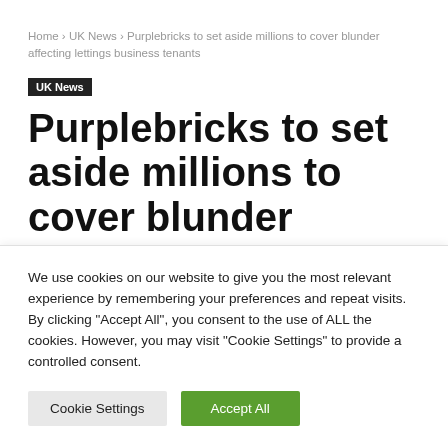Home › UK News › Purplebricks to set aside millions to cover blunder affecting lettings business tenants
UK News
Purplebricks to set aside millions to cover blunder affecting lettings business tenants
We use cookies on our website to give you the most relevant experience by remembering your preferences and repeat visits. By clicking "Accept All", you consent to the use of ALL the cookies. However, you may visit "Cookie Settings" to provide a controlled consent.